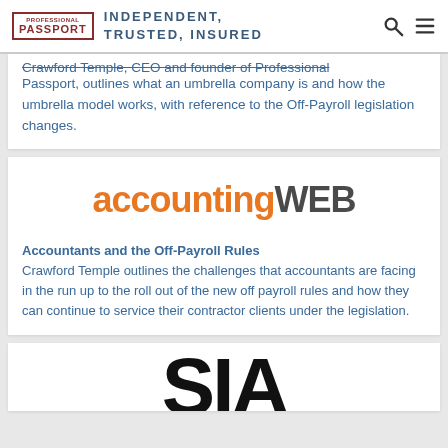PROFESSIONAL PASSPORT | INDEPENDENT, TRUSTED, INSURED
Crawford Temple, CEO and founder of Professional Passport, outlines what an umbrella company is and how the umbrella model works, with reference to the Off-Payroll legislation changes.
[Figure (logo): AccountingWEB logo — 'accounting' in orange bold, 'WEB' in dark grey bold]
Accountants and the Off-Payroll Rules
Crawford Temple outlines the challenges that accountants are facing in the run up to the roll out of the new off payroll rules and how they can continue to service their contractor clients under the legislation.
[Figure (logo): SIA logo letters partially visible at bottom of page]